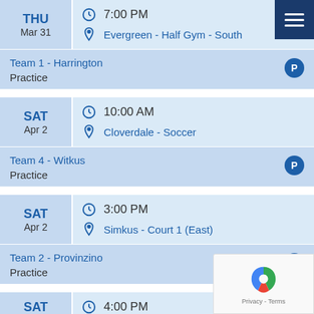[Figure (other): Hamburger menu icon button (dark blue background, three white horizontal lines) in top-right corner]
THU
Mar 31
7:00 PM
Evergreen - Half Gym - South
Team 1 - Harrington
Practice
SAT
Apr 2
10:00 AM
Cloverdale - Soccer
Team 4 - Witkus
Practice
SAT
Apr 2
3:00 PM
Simkus - Court 1 (East)
Team 2 - Provinzino
Practice
SAT
4:00 PM